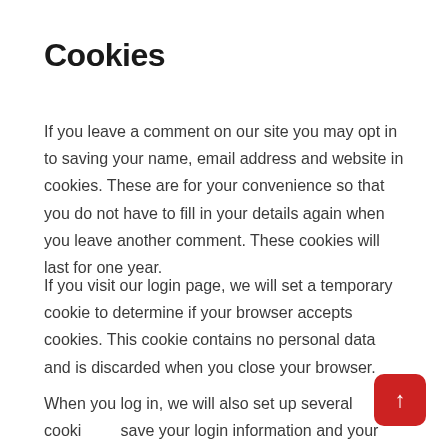Cookies
If you leave a comment on our site you may opt in to saving your name, email address and website in cookies. These are for your convenience so that you do not have to fill in your details again when you leave another comment. These cookies will last for one year.
If you visit our login page, we will set a temporary cookie to determine if your browser accepts cookies. This cookie contains no personal data and is discarded when you close your browser.
When you log in, we will also set up several cookies to save your login information and your screen display choices. Login cookies last for two days, and screen